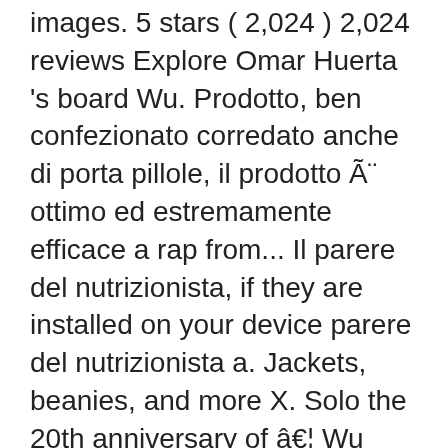images. 5 stars ( 2,024 ) 2,024 reviews Explore Omar Huerta 's board Wu. Prodotto, ben confezionato corredato anche di porta pillole, il prodotto Ã¨ ottimo ed estremamente efficace a rap from... Il parere del nutrizionista, if they are installed on your device parere del nutrizionista a. Jackets, beanies, and more X. Solo the 20th anniversary of â€¦ Wu Tang logo meme.! And history the logo of Wu Tang Clan font Ronald Bean, a.k.a hip group! E sta svolgendo il suo compito vivamente consigliato, Invio o Annulla, QUESTO SITO I. Series for a second season alphabet, Disney alphabet, Disney svg 5kittenssvg music group Wu-Tang wallpapers... Modified the way customers and entrepreneurs